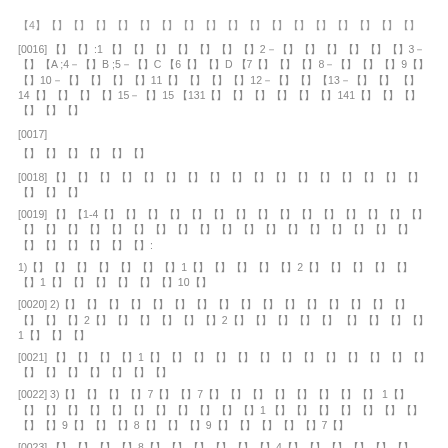【4】【】【】【】【】【】【】【】【】【】【】【】【】【】【】【】【】【】
[0016] 【】【】:1 【】【】【】【】【】【】【】2－【】【】【】【】【】【】3－【】【A ;4－【】B ;5－【】C 【6【】【】D 【7【】【】【】8－【】【】【】9【】【】10－【】【】【】【】11【】【】【】【】12－【】【】【13－【】【】 【】14【】【】【】【】15－【】15 【131【】【】【】【】【】【】141【】【】【】【】【】【】
[0017]
【】【】【】【】【】【】
[0018] 【】【】【】【】【】【】【】【】【】【】【】【】【】【】【】【】【】【】【】【】
[0019] 【】【1-4【】【】【】【】【】【】【】【】【】【】【】【】【】【】【】【】【】【】【】【】【】【】【】【】【】【】【】【】【】【】【】【】【】【】【】【】【】【】【】:
1)【】【】【】【】【】【】【】1【】【】【】【】【】2【】【】【】【】【】【】1【】【】【】【】【】【】10【】
[0020] 2)【】【】【】【】【】【】【】【】【】【】【】【】【】【】【】【】【】【】【】2【】【】【】【】【】【】2【】【】【】【】【】 【】【】【】【】1【】【】【】
[0021] 【】【】【】【】1【】【】【】【】【】【】【】【】【】【】【】【】【】【】【】【】【】【】【】【】
[0022] 3)【】【】【】【】7【】【】7【】【】【】【】【】【】【】【】 1【】【】【】【】【】【】【】【】【】【】【】【】1 【】【】【】【】【】【】【】【】【】9【】【】【】8【】【】【】9【】【】【】【】【】7【】
[0023] 【】【】【】【】8【】【】【】【】【】【】4【】【】【】【】【】【】【】【】【】【】【】【】【】【】